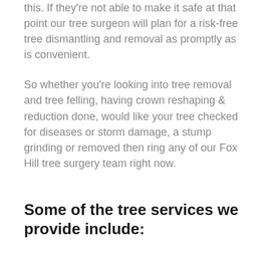this. If they're not able to make it safe at that point our tree surgeon will plan for a risk-free tree dismantling and removal as promptly as is convenient.
So whether you're looking into tree removal and tree felling, having crown reshaping & reduction done, would like your tree checked for diseases or storm damage, a stump grinding or removed then ring any of our Fox Hill tree surgery team right now.
Some of the tree services we provide include: